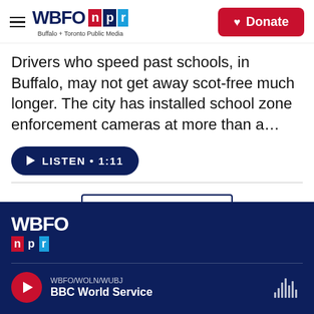[Figure (logo): WBFO NPR logo with hamburger menu and Donate button in header]
Drivers who speed past schools, in Buffalo, may not get away scot-free much longer. The city has installed school zone enforcement cameras at more than a…
[Figure (other): LISTEN • 1:11 audio play button]
[Figure (other): Load More button]
[Figure (logo): WBFO NPR footer logo with BBC World Service player bar]